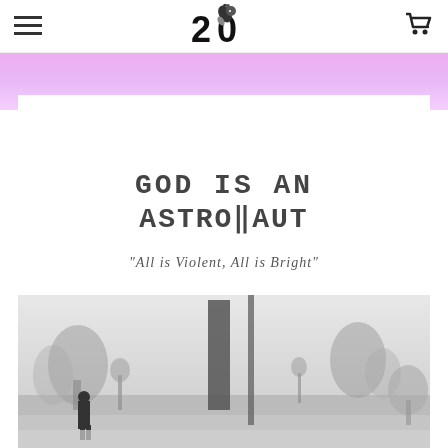[Figure (logo): 20 years logo with rocket/dog illustration]
[Figure (illustration): Hamburger menu icon (three horizontal lines)]
[Figure (illustration): Shopping cart icon]
[Figure (photo): God Is An Astronaut - All is Violent, All is Bright album cover. White background with band name in pixelated/digital font, album title in italic serif, and a monochrome photo of a desolate landscape with tall structures and a silhouette.]